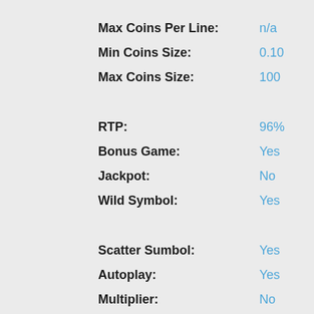Max Coins Per Line: n/a
Min Coins Size: 0.10
Max Coins Size: 100
RTP: 96%
Bonus Game: Yes
Jackpot: No
Wild Symbol: Yes
Scatter Sumbol: Yes
Autoplay: Yes
Multiplier: No
Free Spins: Yes